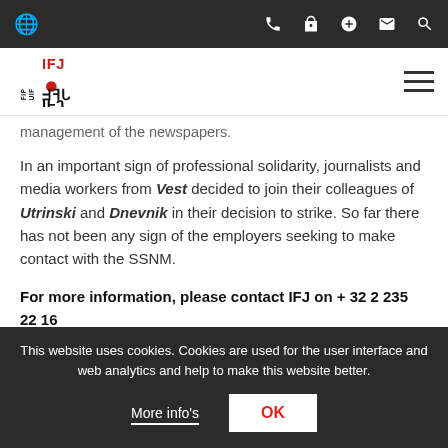IFJ website header navigation bar
[Figure (logo): IFJ FIP UIF logo in red and black]
management of the newspapers.
In an important sign of professional solidarity, journalists and media workers from Vest decided to join their colleagues of Utrinski and Dnevnik in their decision to strike. So far there has not been any sign of the employers seeking to make contact with the SSNM.
For more information, please contact IFJ on + 32 2 235 22 16
This website uses cookies. Cookies are used for the user interface and web analytics and help to make this website better.